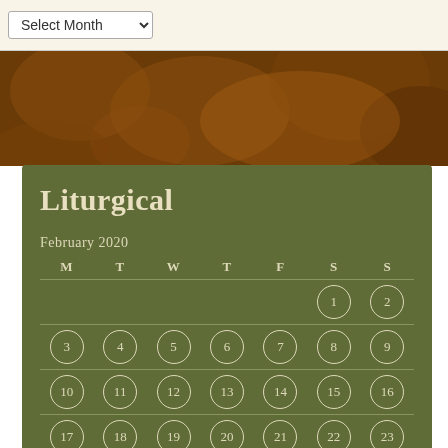[Figure (screenshot): Dropdown select element labeled 'Select Month' on a cream background, with a dark golden/amber decorative background image below it]
Liturgical
February 2020
| M | T | W | T | F | S | S |
| --- | --- | --- | --- | --- | --- | --- |
|  |  |  |  |  | 1 | 2 |
| 3 | 4 | 5 | 6 | 7 | 8 | 9 |
| 10 | 11 | 12 | 13 | 14 | 15 | 16 |
| 17 | 18 | 19 | 20 | 21 | 22 | 23 |
| 24 | 25 | 26 | 27 | 28 | 29 |  |